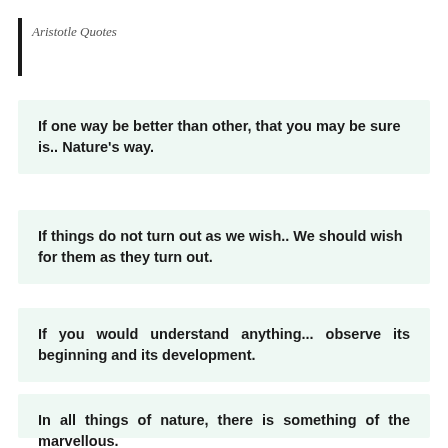Aristotle Quotes
If one way be better than other, that you may be sure is.. Nature's way.
If things do not turn out as we wish.. We should wish for them as they turn out.
If you would understand anything... observe its beginning and its development.
In all things of nature, there is something of the marvellous.